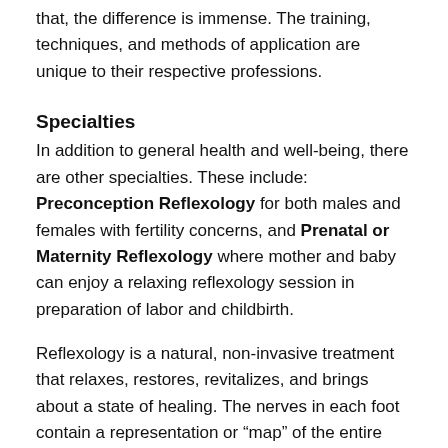that, the difference is immense. The training, techniques, and methods of application are unique to their respective professions.
Specialties
In addition to general health and well-being, there are other specialties. These include: Preconception Reflexology for both males and females with fertility concerns, and Prenatal or Maternity Reflexology where mother and baby can enjoy a relaxing reflexology session in preparation of labor and childbirth.
Reflexology is a natural, non-invasive treatment that relaxes, restores, revitalizes, and brings about a state of healing. The nerves in each foot contain a representation or “map” of the entire body. When direct thumb or finger pressure is applied to these neurological-reflex points, the